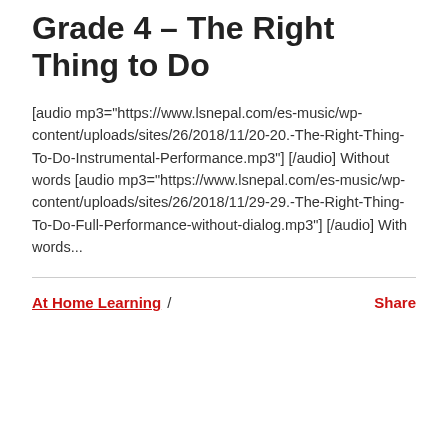Grade 4 – The Right Thing to Do
[audio mp3="https://www.lsnepal.com/es-music/wp-content/uploads/sites/26/2018/11/20-20.-The-Right-Thing-To-Do-Instrumental-Performance.mp3"] [/audio] Without words [audio mp3="https://www.lsnepal.com/es-music/wp-content/uploads/sites/26/2018/11/29-29.-The-Right-Thing-To-Do-Full-Performance-without-dialog.mp3"] [/audio] With words...
At Home Learning / Share